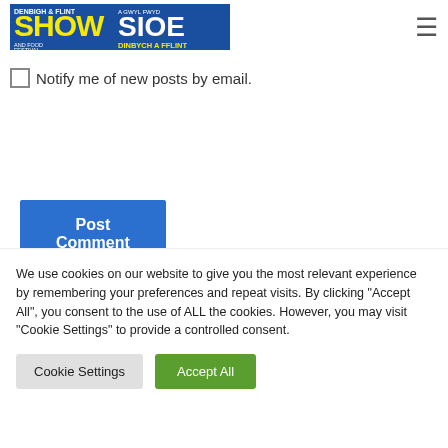Denbigh & Flint Show Sioe - A Gwyl Fwyd Dinbych a Fflint
Notify me of new posts by email.
Post Comment
[Figure (logo): Social media icons: Facebook, Twitter, Instagram]
We use cookies on our website to give you the most relevant experience by remembering your preferences and repeat visits. By clicking “Accept All”, you consent to the use of ALL the cookies. However, you may visit "Cookie Settings" to provide a controlled consent.
Cookie Settings | Accept All